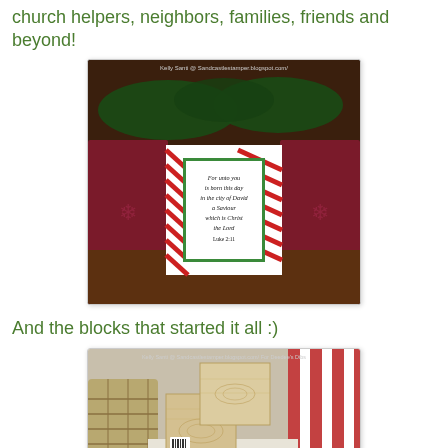church helpers, neighbors, families, friends and beyond!
[Figure (photo): Photo of a Christmas block craft with a scripture card reading 'For unto you is born this day in the city of David a Saviour which is Christ the Lord Luke 2:11', wrapped in candy-cane patterned paper with green border, placed among wrapped gifts with pine branches. Watermark: Kelly Santi @ Sandcastlestamper.blogspot.com/]
And the blocks that started it all :)
[Figure (photo): Photo of plain unfinished wooden blocks stacked together on a striped red and white surface with a woven basket in background. Watermark: Kelly Santi @ Sandcastlestamper.blogspot.com/ For Deedee's Dibs]